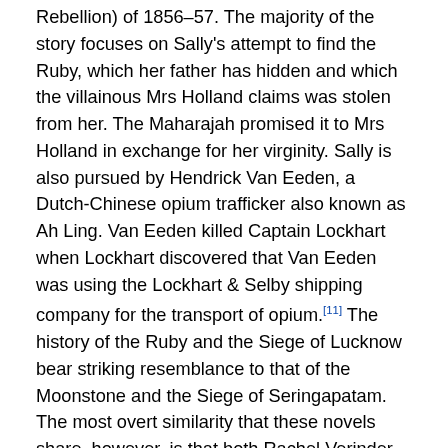Rebellion) of 1856–57. The majority of the story focuses on Sally's attempt to find the Ruby, which her father has hidden and which the villainous Mrs Holland claims was stolen from her. The Maharajah promised it to Mrs Holland in exchange for her virginity. Sally is also pursued by Hendrick Van Eeden, a Dutch-Chinese opium trafficker also known as Ah Ling. Van Eeden killed Captain Lockhart when Lockhart discovered that Van Eeden was using the Lockhart & Selby shipping company for the transport of opium.[11] The history of the Ruby and the Siege of Lucknow bear striking resemblance to that of the Moonstone and the Siege of Seringapatam. The most overt similarity that these novels share, however, is that both Rachel Verinder in The Moonstone and Sally Lockhart in The Ruby in the Smoke are gifted these cursed gems—legacies of the personal failings of colonisers who ran rampant in the colonial world—that they are then forced to contend with in the centre of empire. Yet these novels share more than this central storyline. They share crucial absences: economically marginalised young, White British females who are without familial all...